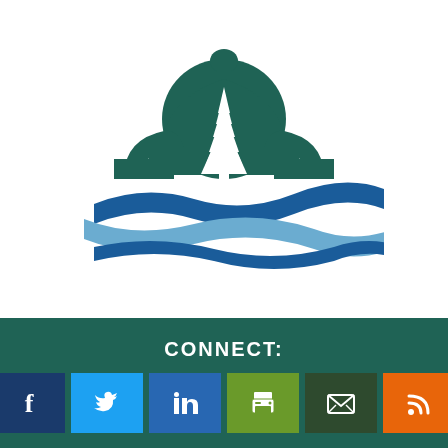[Figure (logo): Government/nature logo: dark teal capitol dome with white pine tree silhouette, with blue and light-blue water wave swooshes below]
CONNECT:
[Figure (infographic): Row of six social media icon buttons: Facebook (dark blue), Twitter (light blue), LinkedIn (blue), Print (green), Email (dark green), RSS (orange)]